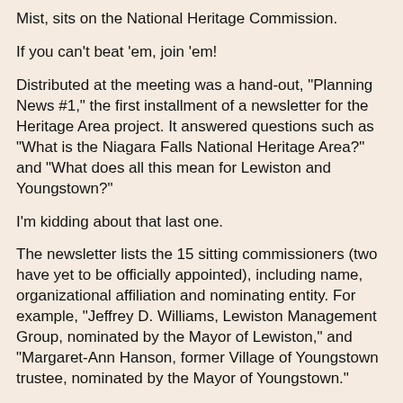Mist, sits on the National Heritage Commission.
If you can't beat 'em, join 'em!
Distributed at the meeting was a hand-out, "Planning News #1," the first installment of a newsletter for the Heritage Area project. It answered questions such as "What is the Niagara Falls National Heritage Area?" and "What does all this mean for Lewiston and Youngstown?"
I'm kidding about that last one.
The newsletter lists the 15 sitting commissioners (two have yet to be officially appointed), including name, organizational affiliation and nominating entity. For example, "Jeffrey D. Williams, Lewiston Management Group, nominated by the Mayor of Lewiston," and "Margaret-Ann Hanson, former Village of Youngstown trustee, nominated by the Mayor of Youngstown."
Inexplicably, the only member of the commission meriting the respectful salutation "Honorable," Mayor Paul Dyster of the city of Niagara Falls, is listed as "Paul A. Dyster, Niagara River Greenway Commission, nominated by the Governor of New York."